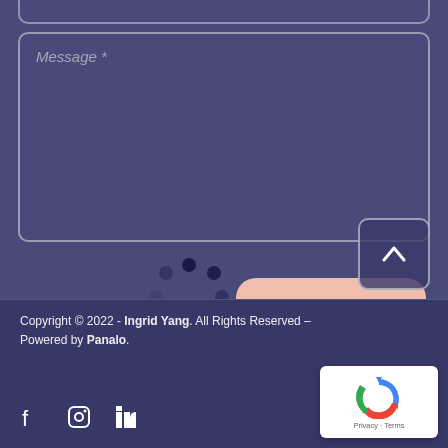[Figure (screenshot): Top portion of a form input field (partially visible at top of page)]
Message *
[Figure (infographic): Spinning loading indicator with dark navy dots arranged in a circle pattern]
[Figure (other): Send Message button with pink/salmon rounded rectangle background]
Copyright © 2022 - Ingrid Yang. All Rights Reserved – Powered by Panalo.
[Figure (other): Social media icons: Facebook, Instagram, LinkedIn]
[Figure (other): Scroll to top button with upward chevron]
[Figure (other): Google reCAPTCHA badge with Privacy and Terms links]